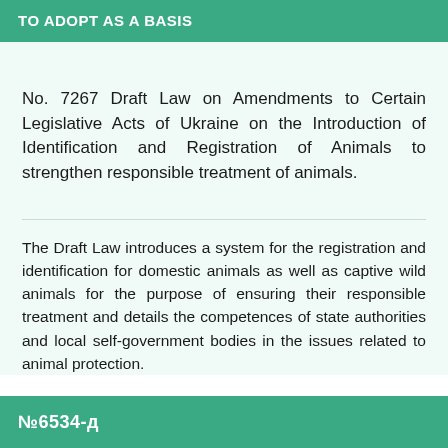TO ADOPT AS A BASIS
No. 7267 Draft Law on Amendments to Certain Legislative Acts of Ukraine on the Introduction of Identification and Registration of Animals to strengthen responsible treatment of animals.
The Draft Law introduces a system for the registration and identification for domestic animals as well as captive wild animals for the purpose of ensuring their responsible treatment and details the competences of state authorities and local self-government bodies in the issues related to animal protection.
№6534-д